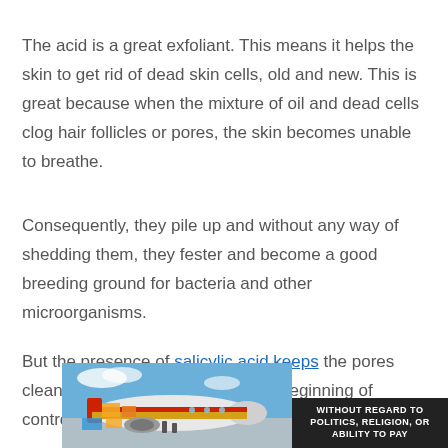The acid is a great exfoliant. This means it helps the skin to get rid of dead skin cells, old and new. This is great because when the mixture of oil and dead cells clog hair follicles or pores, the skin becomes unable to breathe.
Consequently, they pile up and without any way of shedding them, they fester and become a good breeding ground for bacteria and other microorganisms.
But the presence of salicylic acid keeps the pores clean and free of dirt, which is the beginning of control acne and every other breakout.
[Figure (photo): Advertisement banner showing an airplane being loaded with cargo, with a dark overlay section reading 'WITHOUT REGARD TO POLITICS, RELIGION, OR ABILITY TO PAY']